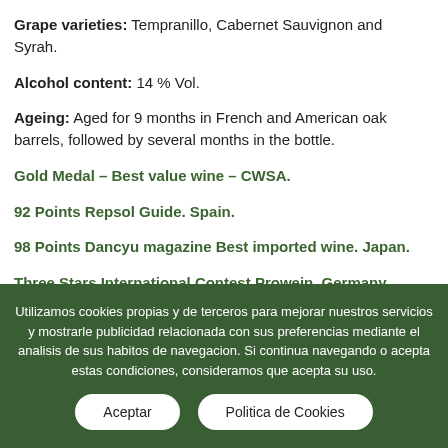Grape varieties: Tempranillo, Cabernet Sauvignon and Syrah.
Alcohol content: 14 % Vol.
Ageing: Aged for 9 months in French and American oak barrels, followed by several months in the bottle.
Gold Medal – Best value wine – CWSA.
92 Points Repsol Guide. Spain.
98 Points Dancyu magazine Best imported wine. Japan.
Three Stars International Contest Prowein. Germany.
Utilizamos cookies propias y de terceros para mejorar nuestros servicios y mostrarle publicidad relacionada con sus preferencias mediante el analisis de sus habitos de navegacion. Si continua navegando o acepta estas condiciones, consideramos que acepta su uso.
Aceptar
Politica de Cookies